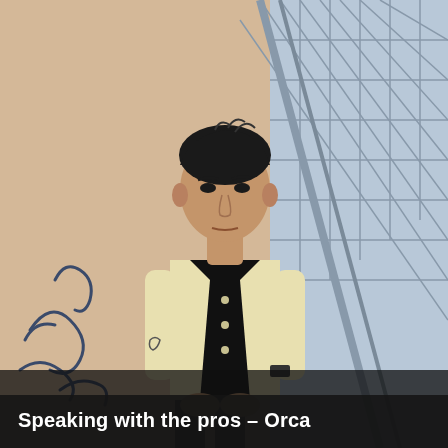[Figure (photo): Young Asian man sitting on metal fire escape stairs, wearing a light yellow/cream denim jacket over a black outfit with black sneakers. Background shows a beige wall with blue graffiti on the left and a metal grid staircase structure on the right. Urban outdoor setting.]
Speaking with the pros – Orca